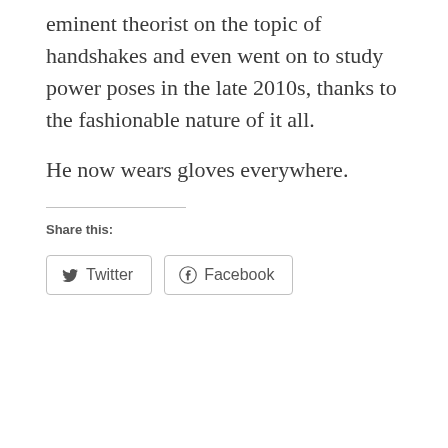eminent theorist on the topic of handshakes and even went on to study power poses in the late 2010s, thanks to the fashionable nature of it all.
He now wears gloves everywhere.
Share this:
[Figure (other): Share buttons for Twitter and Facebook]